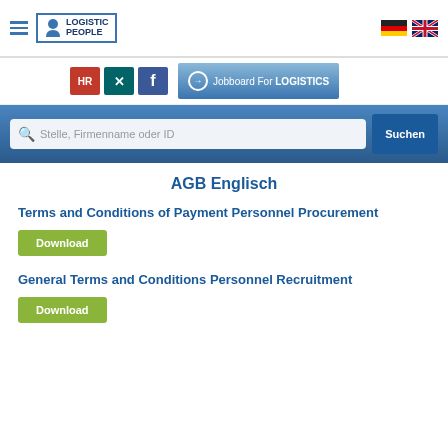Logistic People — Navigation header with logo and language flags
[Figure (logo): Logistic People logo with blue border, person icon and text LOGISTIC PEOPLE]
[Figure (infographic): Social icons bar: HR (red), Xing (teal), Facebook (blue), and Jobboard For LOGISTICS button (blue gradient)]
[Figure (infographic): Blue search bar with search input placeholder 'Stelle, Firmenname oder ID' and Suchen button]
AGB Englisch
Terms and Conditions of Payment Personnel Procurement
Download
General Terms and Conditions Personnel Recruitment
Download